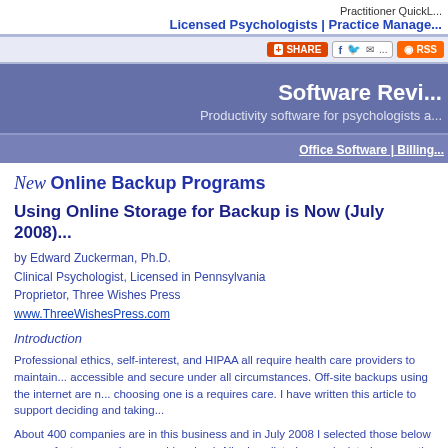Practitioner QuickL...
Licensed Psychologists | Practice Manage...
[Figure (screenshot): Share bar with SHARE button, social icons (Facebook, Twitter, email), and RSS button]
Software Revi...
Productivity software for psychologists a...
Office Software | Billing...
New Online Backup Programs
Using Online Storage for Backup is Now (July 2008)...
by Edward Zuckerman, Ph.D.
Clinical Psychologist, Licensed in Pennsylvania
Proprietor, Three Wishes Press
www.ThreeWishesPress.com
Introduction
Professional ethics, self-interest, and HIPAA all require health care providers to maintain... accessible and secure under all circumstances. Off-site backups using the internet are n... choosing one is a requires care. I have written this article to support deciding and taking...
About 400 companies are in this business and in July 2008 I selected those below as su... features, and reasonably priced. All prices listed are calculated per month for 10 GB of s... you more storage space.